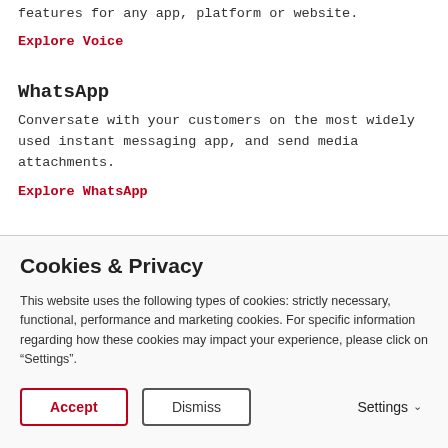features for any app, platform or website.
Explore Voice
WhatsApp
Conversate with your customers on the most widely used instant messaging app, and send media attachments.
Explore WhatsApp
Cookies & Privacy
This website uses the following types of cookies: strictly necessary, functional, performance and marketing cookies. For specific information regarding how these cookies may impact your experience, please click on “Settings”.
Accept | Dismiss | Settings